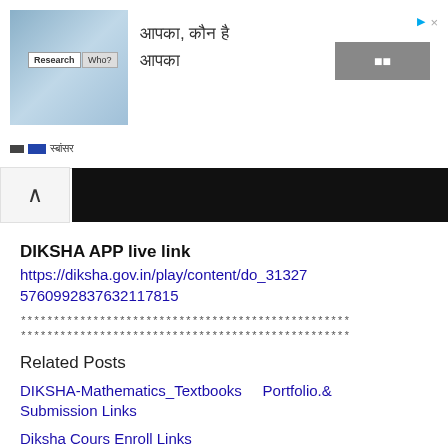[Figure (screenshot): Ad banner with research image, Hindi text, and button]
[Figure (screenshot): Navigation bar with up arrow and black bar]
DIKSHA APP live link
https://diksha.gov.in/play/content/do_313275760992837632117815
****************************************************
****************************************************
Related Posts
DIKSHA-Mathematics_Textbooks   Portfolio.&   Submission Links
Diksha Cours Enroll Links
Diksha App Instal Click here